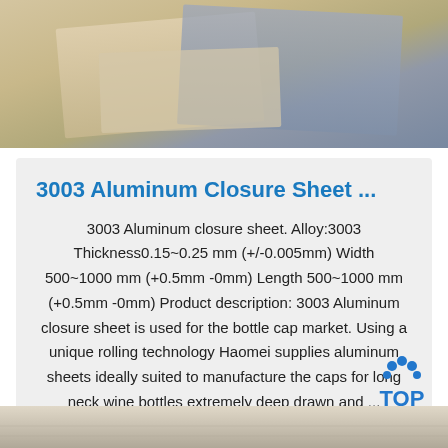[Figure (photo): Photo of aluminum sheets/metal sheets stacked, showing beige and gray metallic surfaces]
3003 Aluminum Closure Sheet ...
3003 Aluminum closure sheet. Alloy:3003 Thickness0.15~0.25 mm (+/-0.005mm) Width 500~1000 mm (+0.5mm -0mm) Length 500~1000 mm (+0.5mm -0mm) Product description: 3003 Aluminum closure sheet is used for the bottle cap market. Using a unique rolling technology Haomei supplies aluminum sheets ideally suited to manufacture the caps for long neck wine bottles extremely deep drawn and ...
[Figure (logo): TOP badge logo with blue dots arc above and blue text TOP]
[Figure (photo): Partial photo of metal sheets at bottom of page]